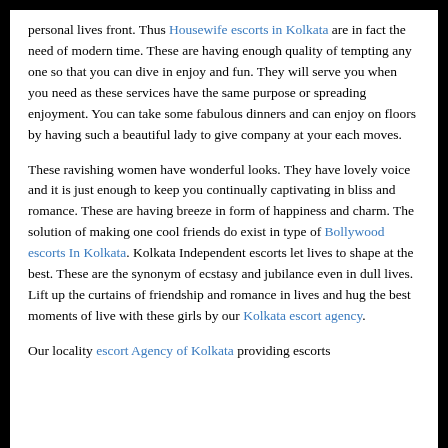personal lives front. Thus Housewife escorts in Kolkata are in fact the need of modern time. These are having enough quality of tempting any one so that you can dive in enjoy and fun. They will serve you when you need as these services have the same purpose or spreading enjoyment. You can take some fabulous dinners and can enjoy on floors by having such a beautiful lady to give company at your each moves.
These ravishing women have wonderful looks. They have lovely voice and it is just enough to keep you continually captivating in bliss and romance. These are having breeze in form of happiness and charm. The solution of making one cool friends do exist in type of Bollywood escorts In Kolkata. Kolkata Independent escorts let lives to shape at the best. These are the synonym of ecstasy and jubilance even in dull lives. Lift up the curtains of friendship and romance in lives and hug the best moments of live with these girls by our Kolkata escort agency.
Our locality escort Agency of Kolkata providing escorts